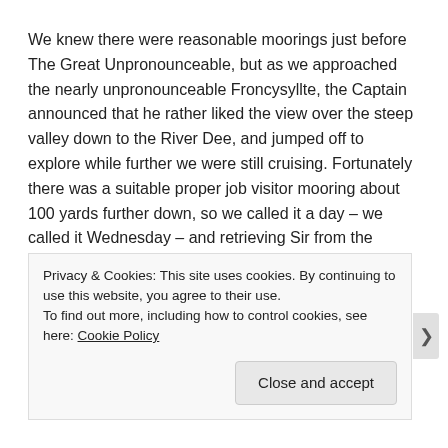We knew there were reasonable moorings just before The Great Unpronounceable, but as we approached the nearly unpronounceable Froncysyllte, the Captain announced that he rather liked the view over the steep valley down to the River Dee, and jumped off to explore while further we were still cruising. Fortunately there was a suitable proper job visitor mooring about 100 yards further down, so we called it a day – we called it Wednesday – and retrieving Sir from the
Privacy & Cookies: This site uses cookies. By continuing to use this website, you agree to their use.
To find out more, including how to control cookies, see here: Cookie Policy